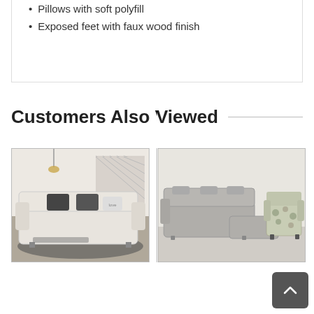Pillows with soft polyfill
Exposed feet with faux wood finish
Customers Also Viewed
[Figure (photo): White/cream fabric recliner sofa with dark throw pillows in a living room setting with staircase and pendant lights]
[Figure (photo): Grey leather power recliner sectional sofa with chaise, alongside a patterned accent chair]